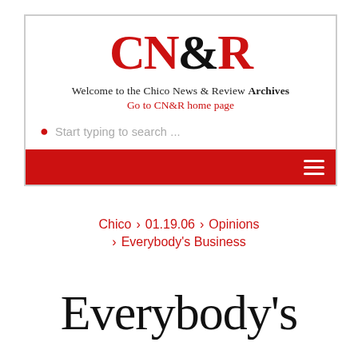[Figure (screenshot): CN&R website header with logo, welcome text, search bar, and red navigation bar with hamburger menu]
Chico › 01.19.06 › Opinions › Everybody's Business
Everybody's